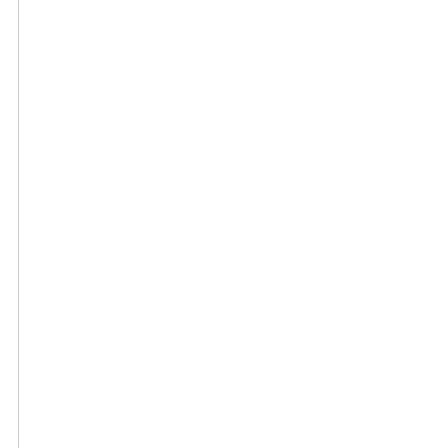Aims of the Programme
tra... pro...
ME... Ch... at ... cri... hy...
Ty... so... co... au... ha... pe... situ... pro...
Th... so... the... inc...
Th... au... the...